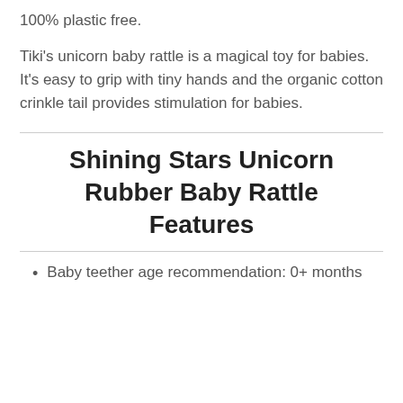100% plastic free.
Tiki's unicorn baby rattle is a magical toy for babies. It's easy to grip with tiny hands and the organic cotton crinkle tail provides stimulation for babies.
Shining Stars Unicorn Rubber Baby Rattle Features
Baby teether age recommendation: 0+ months